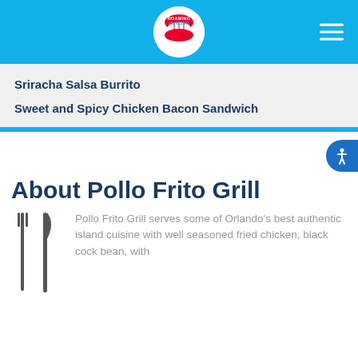Roaming Hunger
Sriracha Salsa Burrito
Sweet and Spicy Chicken Bacon Sandwich
About Pollo Frito Grill
[Figure (illustration): Fork and knife icon in dark grey]
Pollo Frito Grill serves some of Orlando's best authentic island cuisine with well seasoned fried chicken, black cock bean, with